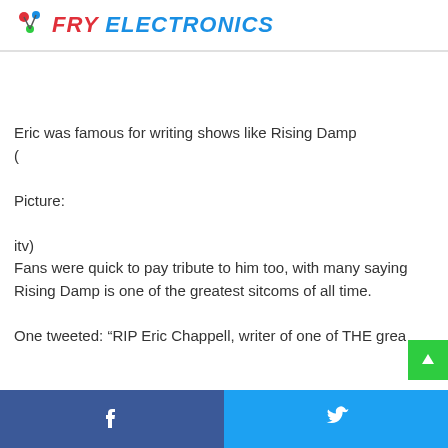FRY ELECTRONICS
Eric was famous for writing shows like Rising Damp
(

Picture:

itv)
Fans were quick to pay tribute to him too, with many saying Rising Damp is one of the greatest sitcoms of all time.

One tweeted: “RIP Eric Chappell, writer of one of THE grea